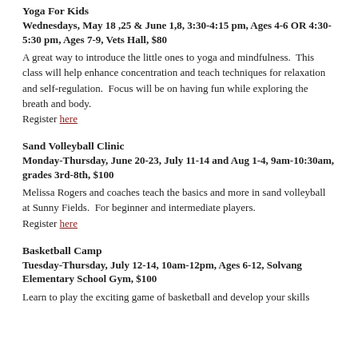Yoga For Kids
Wednesdays, May 18 ,25 & June 1,8, 3:30-4:15 pm, Ages 4-6 OR 4:30-5:30 pm, Ages 7-9, Vets Hall, $80
A great way to introduce the little ones to yoga and mindfulness.  This class will help enhance concentration and teach techniques for relaxation and self-regulation.  Focus will be on having fun while exploring the breath and body.
Register here
Sand Volleyball Clinic
Monday-Thursday, June 20-23, July 11-14 and Aug 1-4, 9am-10:30am, grades 3rd-8th, $100
Melissa Rogers and coaches teach the basics and more in sand volleyball at Sunny Fields.  For beginner and intermediate players.
Register here
Basketball Camp
Tuesday-Thursday, July 12-14, 10am-12pm, Ages 6-12, Solvang Elementary School Gym, $100
Learn to play the exciting game of basketball and develop your skills